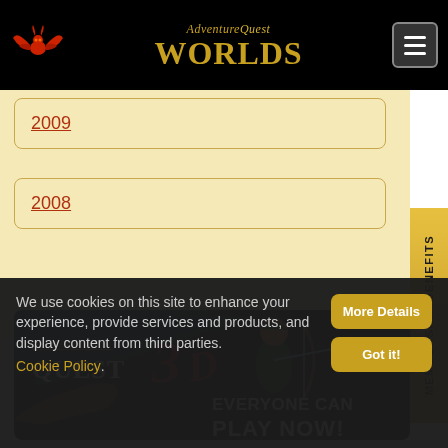AdventureQuest Worlds
2009
2008
[Figure (screenshot): AdventureQuest 3D banner advertisement showing game logo and the text EVERYONE CAN PLAY NOW!]
MEMBERSHIP BENEFITS
We use cookies on this site to enhance your experience, provide services and products, and display content from third parties. Cookie Policy.